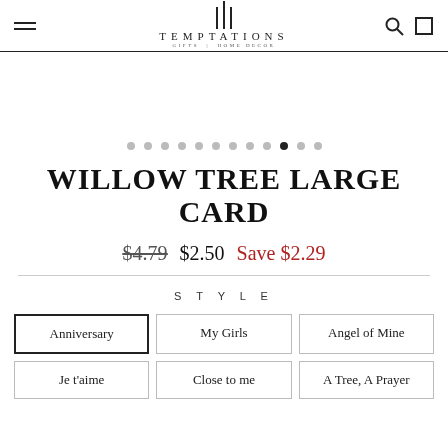TEMPTATIONS GIFTS | HOME DECOR
WILLOW TREE LARGE CARD
$4.79  $2.50  Save $2.29
STYLE
Anniversary
My Girls
Angel of Mine
Je t'aime
Close to me
A Tree, A Prayer